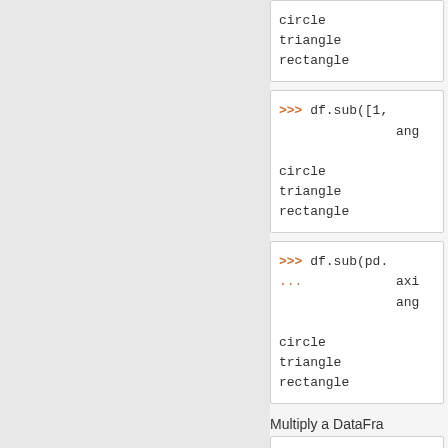circle
triangle
rectangle
>>> df.sub([1,
               ang
circle
triangle
rectangle
>>> df.sub(pd.
...             axi
               ang
circle
triangle
rectangle
Multiply a DataFra
Scroll To Top
>>> other = pd
...
>>> other
               ang